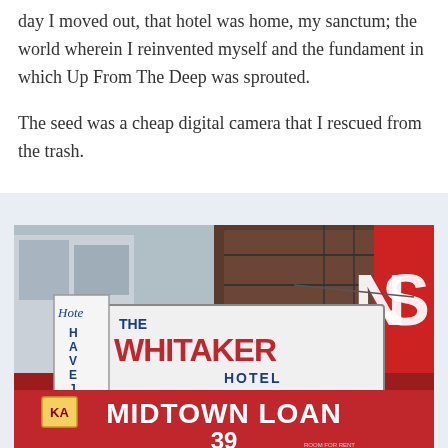day I moved out, that hotel was home, my sanctum; the world wherein I reinvented myself and the fundament in which Up From The Deep was sprouted.

The seed was a cheap digital camera that I rescued from the trash.
[Figure (photo): Street-level photograph of The Whitaker Hotel sign and Midtown Loan 39 storefront sign in red, white and blue colors, with partial view of other building signs including 'Hotel Haven' signage on the left side.]